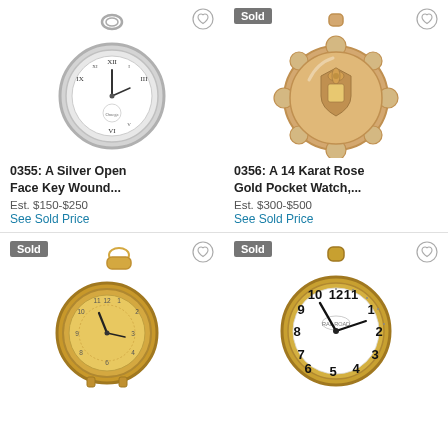[Figure (photo): Silver open face pocket watch with white dial, Roman numerals, chain loop at top]
0355: A Silver Open Face Key Wound...
Est. $150-$250
See Sold Price
[Figure (photo): 14 Karat Rose Gold pocket watch, closed case with decorative shield emblem, scalloped edge, Sold badge]
0356: A 14 Karat Rose Gold Pocket Watch,...
Est. $300-$500
See Sold Price
[Figure (photo): Gold tone open face pocket watch with gold dial, Arabic numerals, Sold badge]
[Figure (photo): Large railroad-style gold tone pocket watch with white dial, large Arabic numerals, Sold badge]